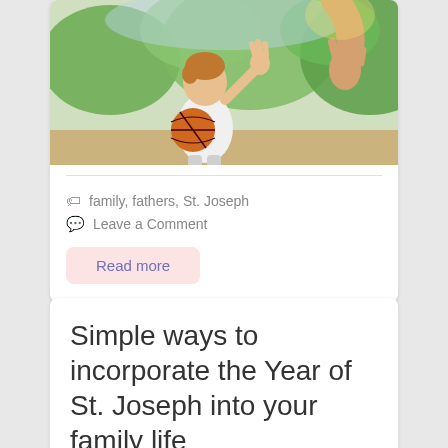[Figure (photo): Child holding a basketball reaching up to high-five an adult outdoors with green trees in background]
family, fathers, St. Joseph
Leave a Comment
Read more
Simple ways to incorporate the Year of St. Joseph into your family life
Incorporate these ideas as often as you wish to